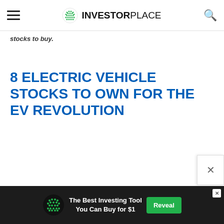InvestorPlace
stocks to buy.
8 ELECTRIC VEHICLE STOCKS TO OWN FOR THE EV REVOLUTION
[Figure (advertisement): Ad banner: InvestorPlace logo, text 'The Best Investing Tool You Can Buy for $1', green Reveal button]